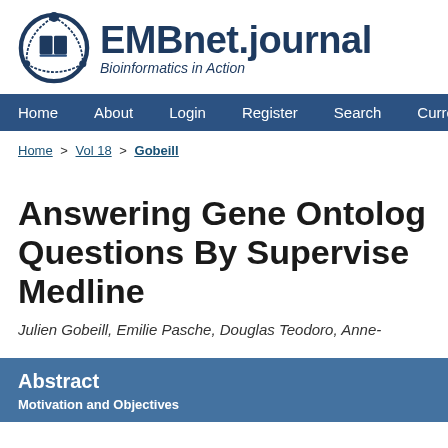[Figure (logo): EMBnet.journal logo with circular icon and text 'EMBnet.journal Bioinformatics in Action']
Home  About  Login  Register  Search  Current
Home > Vol 18 > Gobeill
Answering Gene Ontology Questions By Supervised Medline
Julien Gobeill, Emilie Pasche, Douglas Teodoro, Anne-
Abstract
Motivation and Objectives